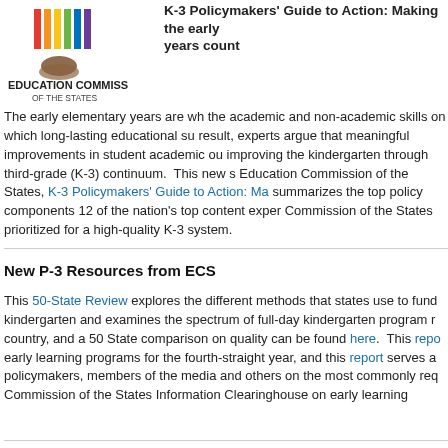[Figure (logo): Education Commission of the States logo with colorful vertical bars and hands icon]
K-3 Policymakers' Guide to Action: Making the early years count
The early elementary years are wh the academic and non-academic skills on which long-lasting educational su result, experts argue that meaningful improvements in student academic ou improving the kindergarten through third-grade (K-3) continuum. This new s Education Commission of the States, K-3 Policymakers' Guide to Action: Ma summarizes the top policy components 12 of the nation's top content exper Commission of the States prioritized for a high-quality K-3 system.
New P-3 Resources from ECS
This 50-State Review explores the different methods that states use to fund kindergarten and examines the spectrum of full-day kindergarten program r country, and a 50 State comparison on quality can be found here. This repo early learning programs for the fourth-straight year, and this report serves a policymakers, members of the media and others on the most commonly req Commission of the States Information Clearinghouse on early learning